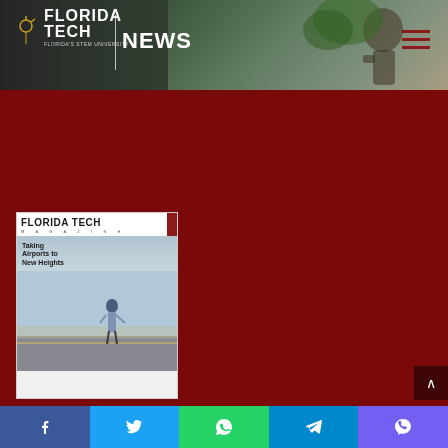[Figure (screenshot): Florida Tech News website header with logo, NEWS text, and background photo of statue and greenery]
[Figure (photo): Florida Tech Magazine cover showing 'Taking Airports to New Heights' with a person standing on a runway]
Florida Tech Magazine presents the life and times of the university through feature stories, news briefs, alumni updates and more.
[Figure (infographic): Social sharing bar with Facebook, Twitter, WhatsApp, Telegram, and Viber buttons]